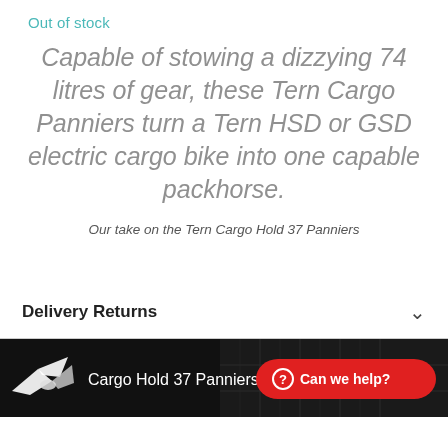Out of stock
Capable of stowing a dizzying 74 litres of gear, these Tern Cargo Panniers turn a Tern HSD or GSD electric cargo bike into one capable packhorse.
Our take on the Tern Cargo Hold 37 Panniers
Delivery Returns
[Figure (screenshot): Video thumbnail showing 'Cargo Hold 37 Panniers: Easy...' with Tern logo bird on black background, and a red 'Can we help?' button overlay]